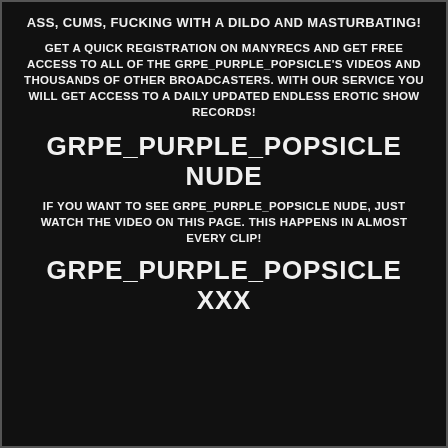ASS, CUMS, FUCKING WITH A DILDO AND MASTURBATING!
GET A QUICK REGISTRATION ON MANYRECS AND GET FREE ACCESS TO ALL OF THE GRPE_PURPLE_POPSICLE'S VIDEOS AND THOUSANDS OF OTHER BROADCASTERS. WITH OUR SERVICE YOU WILL GET ACCESS TO A DAILY UPDATED ENDLESS EROTIC SHOW RECORDS!
GRPE_PURPLE_POPSICLE NUDE
IF YOU WANT TO SEE GRPE_PURPLE_POPSICLE NUDE, JUST WATCH THE VIDEO ON THIS PAGE. THIS HAPPENS IN ALMOST EVERY CLIP!
GRPE_PURPLE_POPSICLE XXX